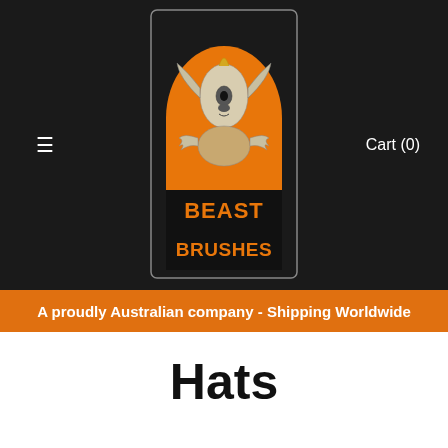[Figure (logo): Beast Brushes logo — a stylized creature with wings and claws on an orange oval background, with 'BEAST BRUSHES' text in orange metallic lettering on a dark background with an arch border]
≡   Cart (0)
A proudly Australian company - Shipping Worldwide
Hats
Lids for your head so you can keep on trucking